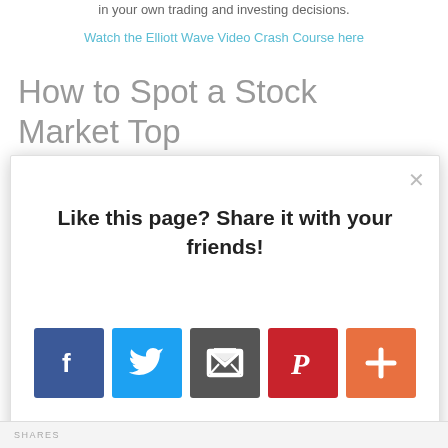in your own trading and investing decisions.
Watch the Elliott Wave Video Crash Course here
How to Spot a Stock Market Top
Like this page? Share it with your friends!
[Figure (infographic): Social share modal popup with Facebook, Twitter, Email, Pinterest, and AddThis (+) buttons]
AddThis
SHARES